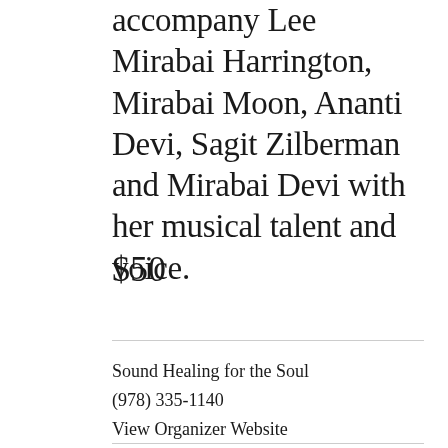accompany Lee Mirabai Harrington, Mirabai Moon, Ananti Devi, Sagit Zilberman and Mirabai Devi with her musical talent and voice.
$50
Sound Healing for the Soul
(978) 335-1140
View Organizer Website
lisa@soundhealingforthesoul.com